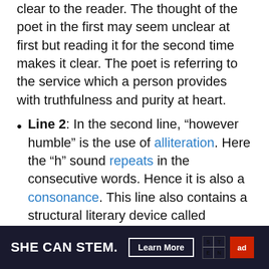clear to the reader. The thought of the poet in the first may seem unclear at first but reading it for the second time makes it clear. The poet is referring to the service which a person provides with truthfulness and purity at heart.
Line 2: In the second line, “however humble” is the use of alliteration. Here the “h” sound repeats in the consecutive words. Hence it is also a consonance. This line also contains a structural literary device called
[Figure (other): Advertisement banner for 'SHE CAN STEM' campaign with Learn More button, STEM logo grid, and Ad Council logo on dark background.]